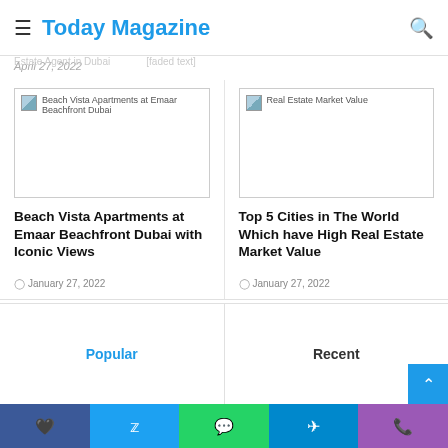Today Magazine
April 27, 2022
[Figure (screenshot): Broken image placeholder for Beach Vista Apartments at Emaar Beachfront Dubai]
Beach Vista Apartments at Emaar Beachfront Dubai with Iconic Views
January 27, 2022
[Figure (screenshot): Broken image placeholder for Real Estate Market Value]
Top 5 Cities in The World Which have High Real Estate Market Value
January 27, 2022
Popular | Recent